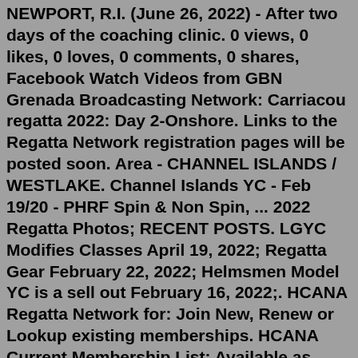NEWPORT, R.I. (June 26, 2022) - After two days of the coaching clinic. 0 views, 0 likes, 0 loves, 0 comments, 0 shares, Facebook Watch Videos from GBN Grenada Broadcasting Network: Carriacou regatta 2022: Day 2-Onshore. Links to the Regatta Network registration pages will be posted soon. Area - CHANNEL ISLANDS / WESTLAKE. Channel Islands YC - Feb 19/20 - PHRF Spin & Non Spin, ... 2022 Regatta Photos; RECENT POSTS. LGYC Modifies Classes April 19, 2022; Regatta Gear February 22, 2022; Helmsmen Model YC is a sell out February 16, 2022;. HCANA Regatta Network for: Join New, Renew or Lookup existing memberships. HCANA Current Membership List: Available as PDF, updated weekly. 2022 Regatta Schedule (PDF) Events will have Links added as Notice of Race or Registration pages become available. Those will contain Organizer contacts. Location links are for reference only. SCHEDULE. 2019 Moraine State Park Regatta -- August 3-4, 2019. Watch on. “The numerous kids’ activities were wonderful. My littles